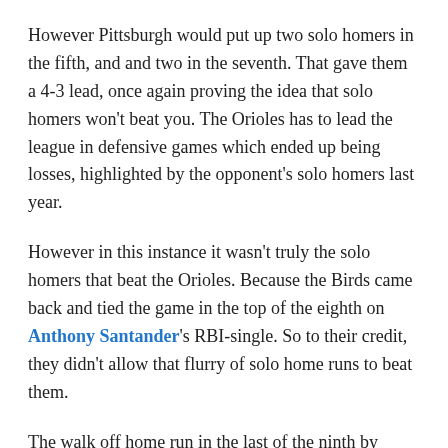However Pittsburgh would put up two solo homers in the fifth, and and two in the seventh. That gave them a 4-3 lead, once again proving the idea that solo homers won't beat you. The Orioles has to lead the league in defensive games which ended up being losses, highlighted by the opponent's solo homers last year.
However in this instance it wasn't truly the solo homers that beat the Orioles. Because the Birds came back and tied the game in the top of the eighth on Anthony Santander's RBI-single. So to their credit, they didn't allow that flurry of solo home runs to beat them.
The walk off home run in the last of the ninth by Tucker did that. Granted, it was a solo homer. However a walk off's a walk off. It's a luxury afforded to the home team.